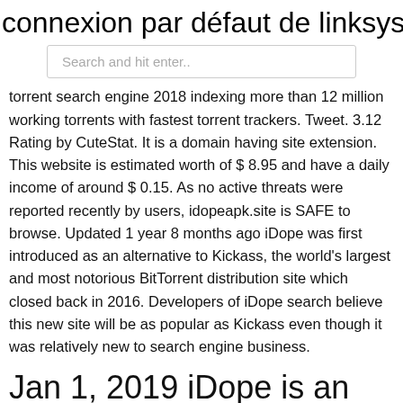connexion par défaut de linksys e300
Search and hit enter..
torrent search engine 2018 indexing more than 12 million working torrents with fastest torrent trackers. Tweet. 3.12 Rating by CuteStat. It is a domain having site extension. This website is estimated worth of $ 8.95 and have a daily income of around $ 0.15. As no active threats were reported recently by users, idopeapk.site is SAFE to browse. Updated 1 year 8 months ago iDope was first introduced as an alternative to Kickass, the world's largest and most notorious BitTorrent distribution site which closed back in 2016. Developers of iDope search believe this new site will be as popular as Kickass even though it was relatively new to search engine business.
Jan 1, 2019 iDope is an excellent alternative to kickass torrent. The iDope